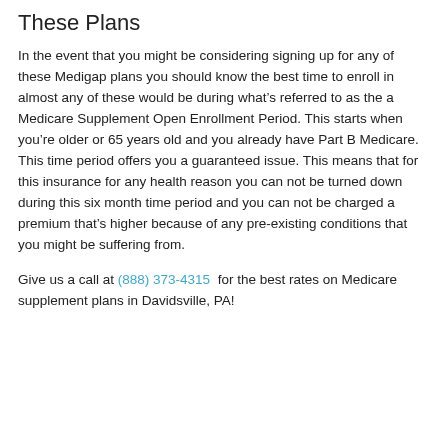These Plans
In the event that you might be considering signing up for any of these Medigap plans you should know the best time to enroll in almost any of these would be during what’s referred to as the a Medicare Supplement Open Enrollment Period. This starts when you’re older or 65 years old and you already have Part B Medicare. This time period offers you a guaranteed issue. This means that for this insurance for any health reason you can not be turned down during this six month time period and you can not be charged a premium that’s higher because of any pre-existing conditions that you might be suffering from.
Give us a call at (888) 373-4315 for the best rates on Medicare supplement plans in Davidsville, PA!